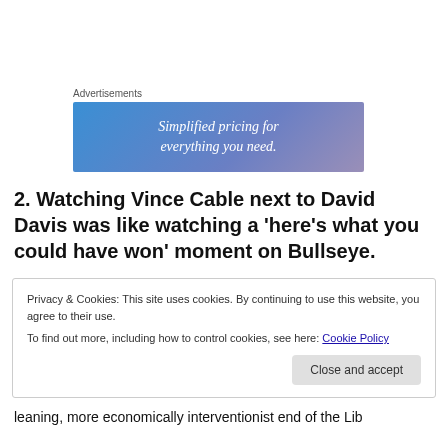Advertisements
[Figure (illustration): Advertisement banner with gradient blue-to-purple background and white italic text reading 'Simplified pricing for everything you need.']
2. Watching Vince Cable next to David Davis was like watching a ‘here’s what you could have won’ moment on Bullseye.
Privacy & Cookies: This site uses cookies. By continuing to use this website, you agree to their use.
To find out more, including how to control cookies, see here: Cookie Policy
Close and accept
leaning, more economically interventionist end of the Lib